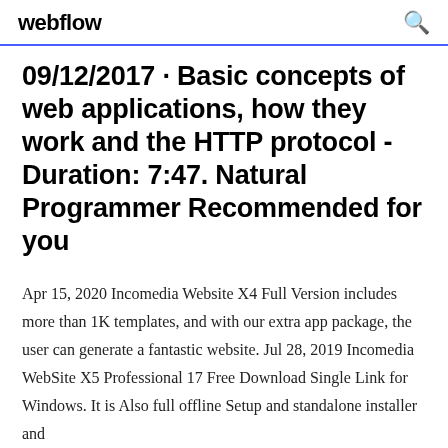webflow
09/12/2017 · Basic concepts of web applications, how they work and the HTTP protocol - Duration: 7:47. Natural Programmer Recommended for you
Apr 15, 2020 Incomedia Website X4 Full Version includes more than 1K templates, and with our extra app package, the user can generate a fantastic website. Jul 28, 2019 Incomedia WebSite X5 Professional 17 Free Download Single Link for Windows. It is Also full offline Setup and standalone installer and